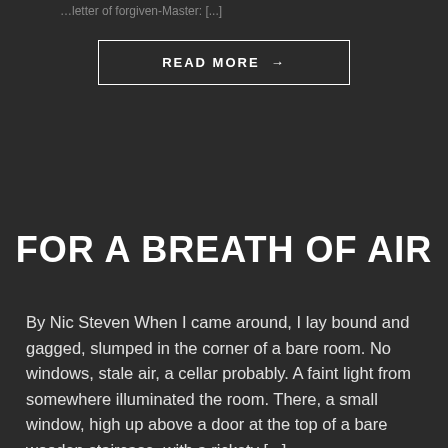…letter of forgiven-Master: [...]
READ MORE →
FOR A BREATH OF AIR
By Nic Steven When I came around, I lay bound and gagged, slumped in the corner of a bare room. No windows, stale air, a cellar probably. A faint light from somewhere illuminated the room. There, a small window, high up above a door at the top of a bare wooden staircase, with a rickety [...]